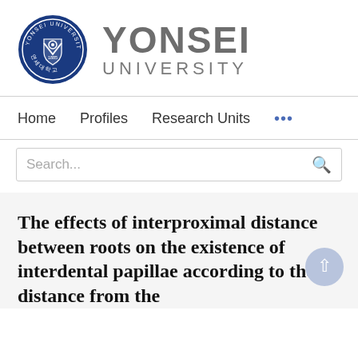[Figure (logo): Yonsei University logo with circular seal and text 'YONSEI UNIVERSITY']
Home   Profiles   Research Units   ...
Search...
The effects of interproximal distance between roots on the existence of interdental papillae according to the distance from the